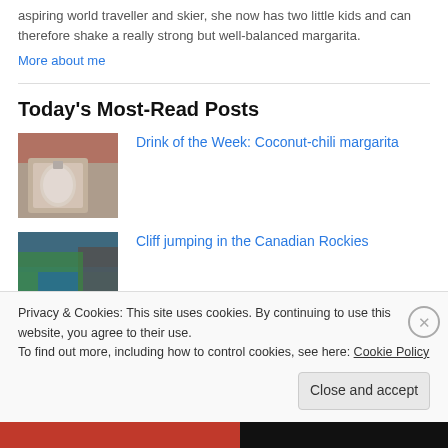aspiring world traveller and skier, she now has two little kids and can therefore shake a really strong but well-balanced margarita.
More about me
Today's Most-Read Posts
[Figure (photo): Thumbnail photo of a coconut-chili margarita drink]
Drink of the Week: Coconut-chili margarita
[Figure (photo): Thumbnail photo of cliff jumping in the Canadian Rockies]
Cliff jumping in the Canadian Rockies
Privacy & Cookies: This site uses cookies. By continuing to use this website, you agree to their use.
To find out more, including how to control cookies, see here: Cookie Policy
Close and accept